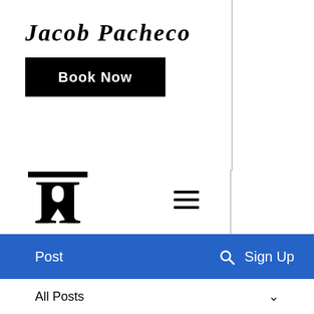Jacob Pacheco
[Figure (other): Black 'Book Now' button]
[Figure (logo): TR monogram logo (two mirrored letters)]
[Figure (other): Hamburger menu icon (three horizontal lines)]
Post   🔍   Sign Up
All Posts
Joanny Valerio  Aug 20, 2020  ·  3 min
Okay Covid, Let's